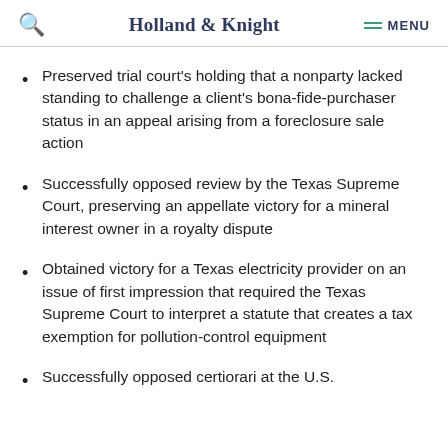Holland & Knight  MENU
Preserved trial court's holding that a nonparty lacked standing to challenge a client's bona-fide-purchaser status in an appeal arising from a foreclosure sale action
Successfully opposed review by the Texas Supreme Court, preserving an appellate victory for a mineral interest owner in a royalty dispute
Obtained victory for a Texas electricity provider on an issue of first impression that required the Texas Supreme Court to interpret a statute that creates a tax exemption for pollution-control equipment
Successfully opposed certiorari at the U.S.